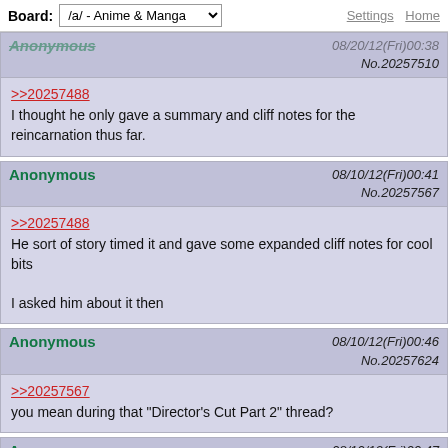Board: /a/ - Anime & Manga   Settings  Home
Anonymous  08/10/12(Fri)00:38  No.20257510
>>20257488
I thought he only gave a summary and cliff notes for the reincarnation thus far.
Anonymous  08/10/12(Fri)00:41  No.20257567
>>20257488
He sort of story timed it and gave some expanded cliff notes for cool bits

I asked him about it then
Anonymous  08/10/12(Fri)00:46  No.20257624
>>20257567
you mean during that "Director's Cut Part 2" thread?
Anonymous  08/10/12(Fri)00:47  No.20257640
>>20257624
No during a follow up to the reincarnation thread he did